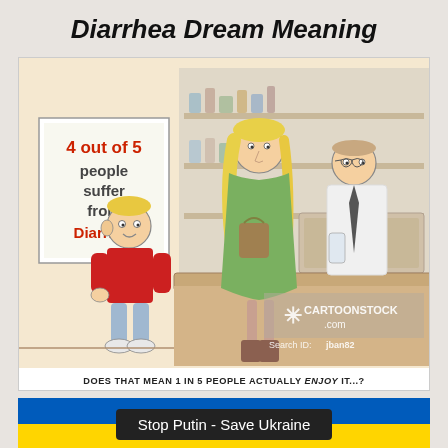Diarrhea Dream Meaning
[Figure (illustration): A cartoon from CartoonStock.com (Search ID: jban82) showing a pharmacy scene: a young boy in a red shirt stands next to a blonde woman in a green outfit at a pharmacy counter. Behind the counter is a pharmacist in a white coat. On the wall is a sign reading '4 out of 5 people suffer from Diarrhea'. The cartoon caption reads: 'DOES THAT MEAN 1 IN 5 PEOPLE ACTUALLY ENJOY IT...?']
DOES THAT MEAN 1 IN 5 PEOPLE ACTUALLY ENJOY IT...?
Stop Putin - Save Ukraine